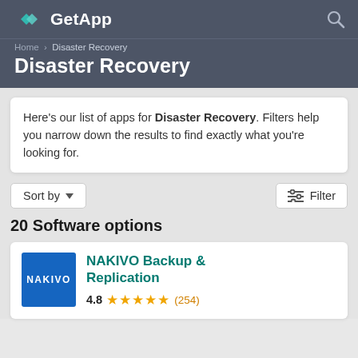GetApp
Disaster Recovery
Here's our list of apps for Disaster Recovery. Filters help you narrow down the results to find exactly what you're looking for.
Sort by ▼   Filter
20 Software options
NAKIVO Backup & Replication 4.8 (254)